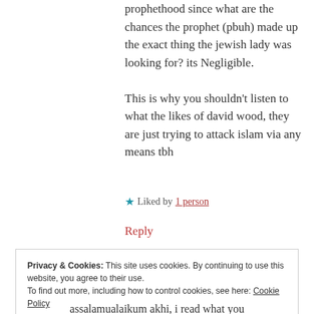prophethood since what are the chances the prophet (pbuh) made up the exact thing the jewish lady was looking for? its Negligible.

This is why you shouldn't listen to what the likes of david wood, they are just trying to attack islam via any means tbh
★ Liked by 1 person
Reply
Privacy & Cookies: This site uses cookies. By continuing to use this website, you agree to their use.
To find out more, including how to control cookies, see here: Cookie Policy
Close and accept
assalamualaikum akhi, i read what you